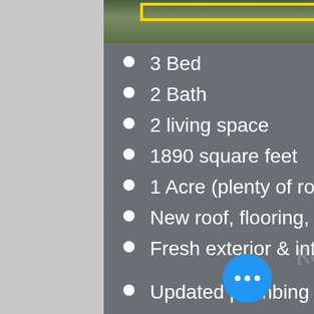[Figure (photo): Aerial/overhead photo of a property with a yellow highlighted rectangle overlay visible at the top of the image strip]
3 Bed
2 Bath
2 living space
1890 square feet
1 Acre (plenty of room for any outdoor activates)
New roof, flooring, & quartz counter tops
Fresh exterior & interior paint throughout
Updated plumbing and light fixtures
All new electric stove and